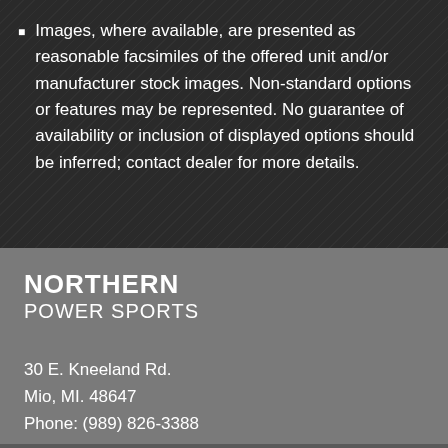Images, where available, are presented as reasonable facsimiles of the offered unit and/or manufacturer stock images. Non-standard options or features may be represented. No guarantee of availability or inclusion of displayed options should be inferred; contact dealer for more details.
NORTHERN POWER SPORTS
30 E. Kneeland Rd.
Mio, MI. 48647
Phone: (989) 826-3388